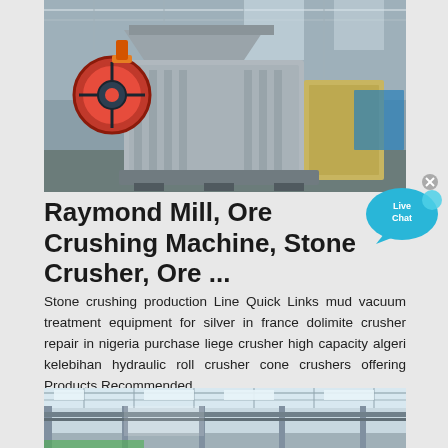[Figure (photo): Industrial jaw crusher machine photographed in a factory/warehouse setting. Large grey metal crushing machine with red/orange flywheel visible on the left side.]
Raymond Mill, Ore Crushing Machine, Stone Crusher, Ore ...
Stone crushing production Line Quick Links mud vacuum treatment equipment for silver in france dolimite crusher repair in nigeria purchase liege crusher high capacity algeri kelebihan hydraulic roll crusher cone crushers offering Products Recommended ...
[Figure (photo): Interior of a large industrial factory or warehouse with steel frame structure, overhead cranes, and light coming through the roof panels.]